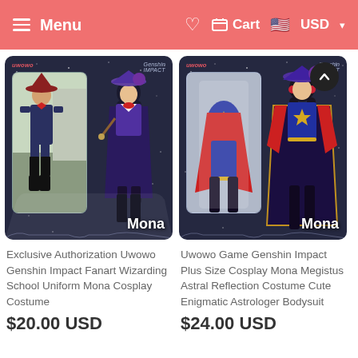Menu   ♡  Cart  USD
[Figure (photo): Genshin Impact Mona cosplay product card - left: real cosplay photo and anime character illustration on dark blue background labeled 'Mona']
[Figure (photo): Genshin Impact Mona Megistus product card - costume display and character art on dark blue background labeled 'Mona']
Exclusive Authorization Uwowo Genshin Impact Fanart Wizarding School Uniform Mona Cosplay Costume
$20.00 USD
Uwowo Game Genshin Impact Plus Size Cosplay Mona Megistus Astral Reflection Costume Cute Enigmatic Astrologer Bodysuit
$24.00 USD